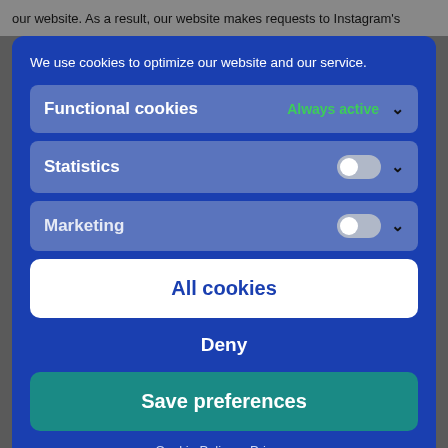our website. As a result, our website makes requests to Instagram's
We use cookies to optimize our website and our service.
Functional cookies — Always active
Statistics — toggle off
Marketing — toggle off
All cookies
Deny
Save preferences
Cookie Policy  Privacy